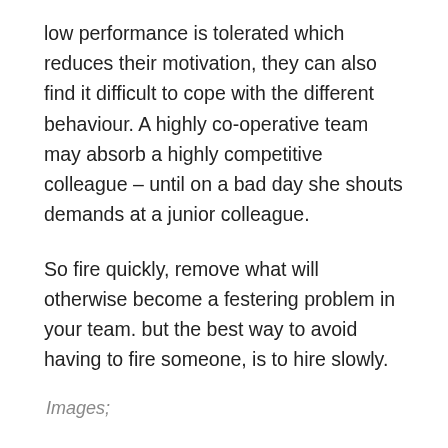low performance is tolerated which reduces their motivation, they can also find it difficult to cope with the different behaviour. A highly co-operative team may absorb a highly competitive colleague – until on a bad day she shouts demands at a junior colleague.
So fire quickly, remove what will otherwise become a festering problem in your team. but the best way to avoid having to fire someone, is to hire slowly.
Images;